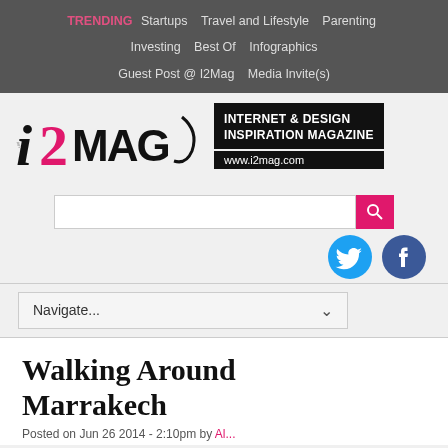TRENDING  Startups  Travel and Lifestyle  Parenting  Investing  Best Of  Infographics  Guest Post @ I2Mag  Media Invite(s)
[Figure (logo): i2Mag logo — Internet & Design Inspiration Magazine, www.i2mag.com]
[Figure (screenshot): Search bar with pink search button, Twitter and Facebook social icons]
[Figure (screenshot): Navigate... dropdown menu]
Walking Around Marrakech
Posted on Jun 26 2014 - 2:10pm by Al...